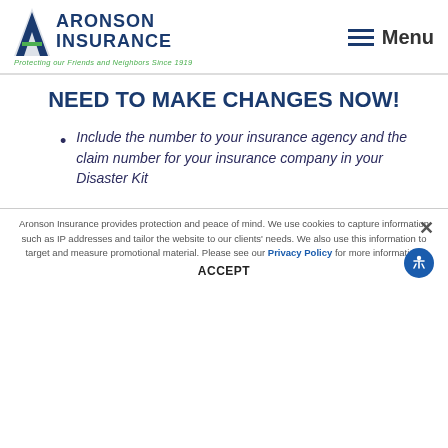[Figure (logo): Aronson Insurance logo with tagline 'Protecting our Friends and Neighbors Since 1919']
NEED TO MAKE CHANGES NOW!
Include the number to your insurance agency and the claim number for your insurance company in your Disaster Kit
Aronson Insurance provides protection and peace of mind. We use cookies to capture information such as IP addresses and tailor the website to our clients' needs. We also use this information to target and measure promotional material. Please see our Privacy Policy for more information.
ACCEPT